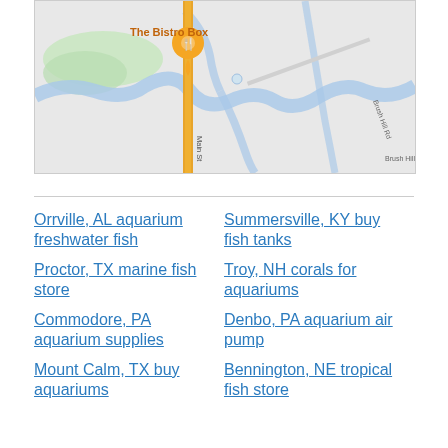[Figure (map): Google Maps view showing a location pin for 'The Bistro Box' restaurant on a road (Main St), with a river/water body, green park area, and Brush Hill Rd visible. The pin is orange/yellow.]
Orrville, AL aquarium freshwater fish
Summersville, KY buy fish tanks
Proctor, TX marine fish store
Troy, NH corals for aquariums
Commodore, PA aquarium supplies
Denbo, PA aquarium air pump
Mount Calm, TX buy aquariums
Bennington, NE tropical fish store